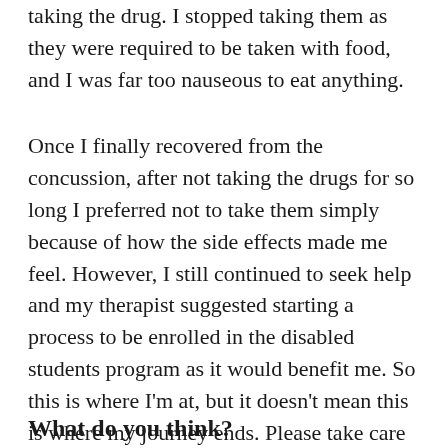taking the drug. I stopped taking them as they were required to be taken with food, and I was far too nauseous to eat anything.
Once I finally recovered from the concussion, after not taking the drugs for so long I preferred not to take them simply because of how the side effects made me feel. However, I still continued to seek help and my therapist suggested starting a process to be enrolled in the disabled students program as it would benefit me. So this is where I'm at, but it doesn't mean this is where my journey ends. Please take care of yourselves, in whichever way that may be for you.
What do you think?